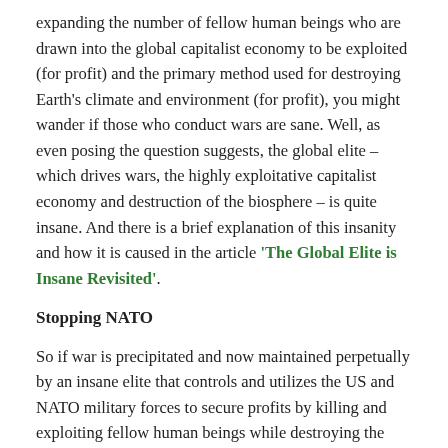expanding the number of fellow human beings who are drawn into the global capitalist economy to be exploited (for profit) and the primary method used for destroying Earth's climate and environment (for profit), you might wander if those who conduct wars are sane. Well, as even posing the question suggests, the global elite – which drives wars, the highly exploitative capitalist economy and destruction of the biosphere – is quite insane. And there is a brief explanation of this insanity and how it is caused in the article 'The Global Elite is Insane Revisited'.
Stopping NATO
So if war is precipitated and now maintained perpetually by an insane elite that controls and utilizes the US and NATO military forces to secure profits by killing and exploiting fellow human beings while destroying the climate and environment, how can we stop it? Clearly, not without a sophisticated strategy that addresses each dimension of the conflict.